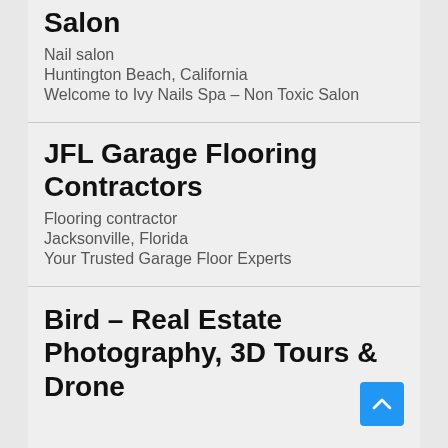Salon
Nail salon
Huntington Beach, California
Welcome to Ivy Nails Spa – Non Toxic Salon
JFL Garage Flooring Contractors
Flooring contractor
Jacksonville, Florida
Your Trusted Garage Floor Experts
Bird – Real Estate Photography, 3D Tours & Drone